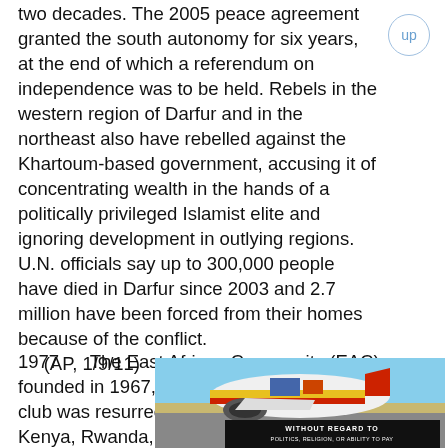two decades. The 2005 peace agreement granted the south autonomy for six years, at the end of which a referendum on independence was to be held. Rebels in the western region of Darfur and in the northeast also have rebelled against the Khartoum-based government, accusing it of concentrating wealth in the hands of a politically privileged Islamist elite and ignoring development in outlying regions. U.N. officials say up to 300,000 people have died in Darfur since 2003 and 2.7 million have been forced from their homes because of the conflict.
    (AP, 1/9/11)
1977      The East African Community (EAC), founded in 1967, collapsed. In 2000 the regional club was resurrected with six members: Burundi, Kenya, Rwanda, South Sudan, Tanzania and Uganda.
[Figure (photo): Photo of an airplane being loaded with cargo, with a yellow and red livery visible. An advertisement banner overlay reads WITHOUT REGARD TO POLITICS, RELIGION, OR ABILITY TO PAY.]